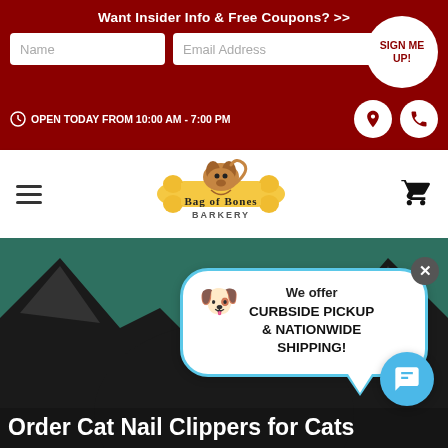Want Insider Info & Free Coupons? >>
Name
Email Address
SIGN ME UP!
⊙ OPEN TODAY FROM 10:00 AM - 7:00 PM
[Figure (logo): Bag of Bones Barkery logo with cartoon dog on bone]
We offer CURBSIDE PICKUP & NATIONWIDE SHIPPING!
[Figure (photo): Close-up of black cat ears and top of head against green background]
Order Cat Nail Clippers for Cats